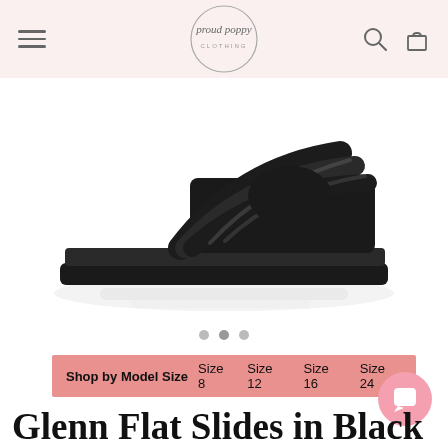proud poppy CLOTHING — navigation header with logo, search and cart icons
[Figure (photo): Black multi-strap flat slide sandal shown from the side on white background with reflection beneath]
Shop by Model Size  Size 8  Size 12  Size 16  Size 24
Glenn Flat Slides in Black